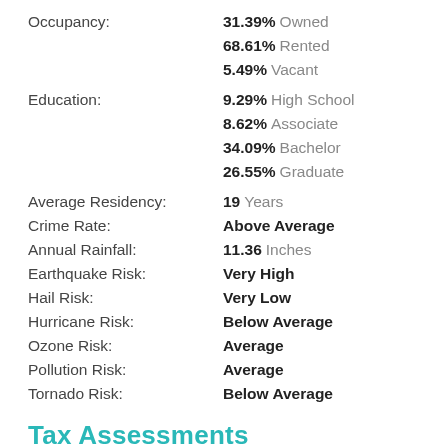Occupancy: 31.39% Owned
68.61% Rented
5.49% Vacant
Education: 9.29% High School
8.62% Associate
34.09% Bachelor
26.55% Graduate
Average Residency: 19 Years
Crime Rate: Above Average
Annual Rainfall: 11.36 Inches
Earthquake Risk: Very High
Hail Risk: Very Low
Hurricane Risk: Below Average
Ozone Risk: Average
Pollution Risk: Average
Tornado Risk: Below Average
Tax Assessments
Value